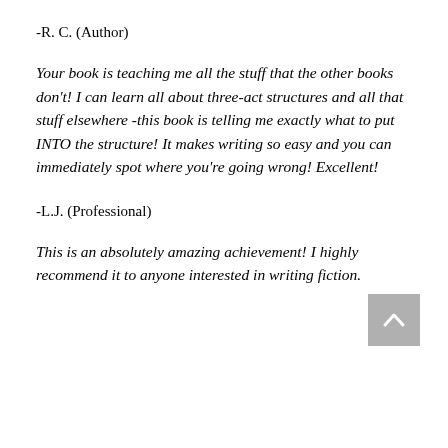-R. C. (Author)
Your book is teaching me all the stuff that the other books don't! I can learn all about three-act structures and all that stuff elsewhere -this book is telling me exactly what to put INTO the structure! It makes writing so easy and you can immediately spot where you're going wrong! Excellent!
-L.J. (Professional)
This is an absolutely amazing achievement! I highly recommend it to anyone interested in writing fiction.